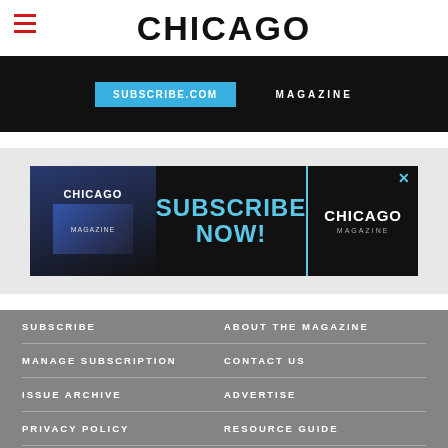CHICAGO
[Figure (screenshot): Advertisement banner: Subscribe Now - Chicago Magazine]
[Figure (screenshot): Advertisement: CHICAGO - SUBSCRIBE NOW! - CHICAGO MAGAZINE with close button]
SUBSCRIBE
ABOUT THE MAGAZINE
MANAGE SUBSCRIPTION
CONTACT US
ISSUE ARCHIVE
ADVERTISE
PRIVACY POLICY
RESOURCE GUIDE
TERMS OF SERVICE
EVENTS
Follow Us